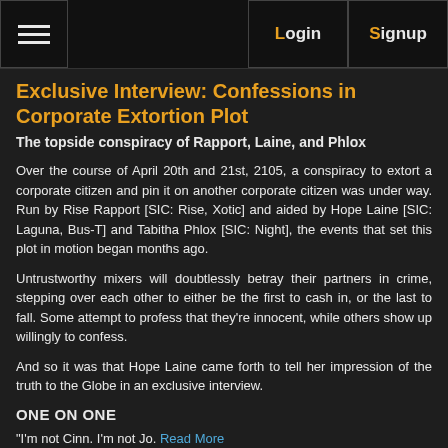≡  Login  Signup
Exclusive Interview: Confessions in Corporate Extortion Plot
The topside conspiracy of Rapport, Laine, and Phlox
Over the course of April 20th and 21st, 2105, a conspiracy to extort a corporate citizen and pin it on another corporate citizen was under way. Run by Rise Rapport [SIC: Rise, Xotic] and aided by Hope Laine [SIC: Laguna, Bus-T] and Tabitha Phlox [SIC: Night], the events that set this plot in motion began months ago.
Untrustworthy mixers will doubtlessly betray their partners in crime, stepping over each other to either be the first to cash in, or the last to fall. Some attempt to profess that they're innocent, while others show up willingly to confess.
And so it was that Hope Laine came forth to tell her impression of the truth to the Globe in an exclusive interview.
ONE ON ONE
"I'm not Cinn. I'm not Jo. Read More